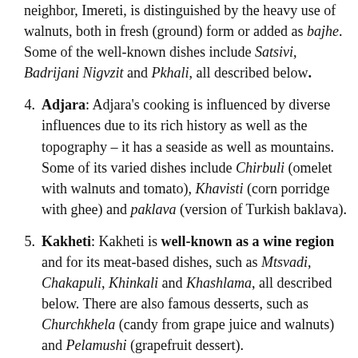neighbor, Imereti, is distinguished by the heavy use of walnuts, both in fresh (ground) form or added as bajhe. Some of the well-known dishes include Satsivi, Badrijani Nigvzit and Pkhali, all described below.
4. Adjara: Adjara's cooking is influenced by diverse influences due to its rich history as well as the topography – it has a seaside as well as mountains. Some of its varied dishes include Chirbuli (omelet with walnuts and tomato), Khavisti (corn porridge with ghee) and paklava (version of Turkish baklava).
5. Kakheti: Kakheti is well-known as a wine region and for its meat-based dishes, such as Mtsvadi, Chakapuli, Khinkali and Khashlama, all described below. There are also famous desserts, such as Churchkhela (candy from grape juice and walnuts) and Pelamushi (grapefruit dessert).